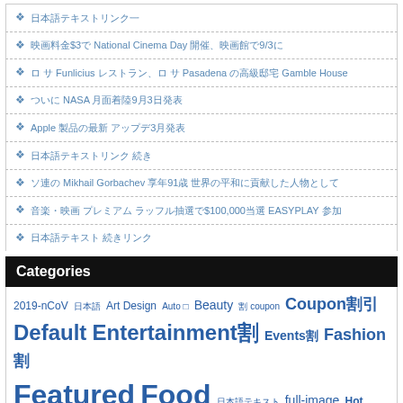❖ 日本語テキストリンク一
❖ 映画料金$3で National Cinema Day 開催、映画館で9/3に
❖ ロ サ Funlicius レストラン、ロ サ Pasadena の高級邸宅 Gamble House
❖ ついに NASA 月面着陸9月3日発表
❖ Apple 製品の最新 アップデ3月発表
❖ 日本語テキストリンク 続き
❖ ソ連の Mikhail Gorbachev 享年91歳 世界の平和に貢献した人物として
❖ 音楽・映画 プレミアム ラッフル抽選で$100,000当選 EASYPLAY 参加
❖ 日本語テキスト 続きリンク
Categories
2019-nCoV 日本語 Art Design Auto □ Beauty 割 coupon Coupon割引 Default Entertainment割 Events割 Fashion割 Featured Food 日本語テキスト full-image Hot Stuff 日本語 LifeStyle□ □ News 割 Restaurants 日本語テキスト Sports News Sports News Home StorePartners割引 Travel 割引 Video 割 WaCow! 割引 Whats Hot □Health 割引Gossip □Los Angeles 割 Family □Cooking □Movie □